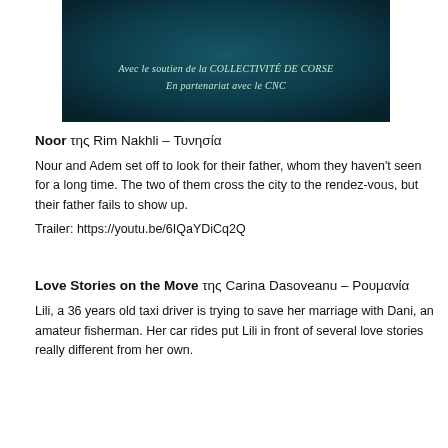[Figure (screenshot): Dark teal/dark blue gradient background image with centered white italic text: 'Avec le soutien de la COLLECTIVITÉ DE CORSE' and 'En partenariat avec le CNC']
Noor της Rim Nakhli – Τυνησία
Nour and Adem set off to look for their father, whom they haven't seen for a long time. The two of them cross the city to the rendez-vous, but their father fails to show up.
Trailer: https://youtu.be/6IQaYDiCq2Q
Love Stories on the Move της Carina Dasoveanu – Ρουμανία
Lili, a 36 years old taxi driver is trying to save her marriage with Dani, an amateur fisherman. Her car rides put Lili in front of several love stories really different from her own.